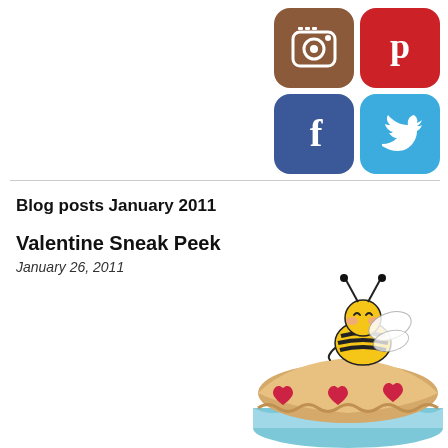[Figure (illustration): Social media icons: Instagram (brown camera icon), Pinterest (red P icon), Facebook (blue f icon), Twitter (blue bird icon) arranged in a 2x2 grid]
Blog posts January 2011
Valentine Sneak Peek
January 26, 2011
[Figure (illustration): Cartoon bee sitting on top of a pie with red heart decorations. The pie has a tan crust top and light blue base. The bee is yellow and black with wings and rosy cheeks.]